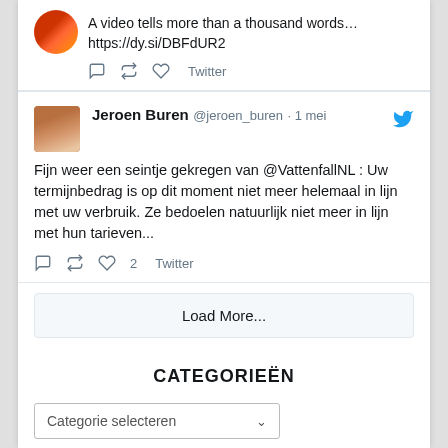A video tells more than a thousand words… https://dy.si/DBFdUR2
Twitter
Jeroen Buren @jeroen_buren · 1 mei
Fijn weer een seintje gekregen van @VattenfallNL : Uw termijnbedrag is op dit moment niet meer helemaal in lijn met uw verbruik. Ze bedoelen natuurlijk niet meer in lijn met hun tarieven...
♡2  Twitter
Load More...
CATEGORIEËN
Categorie selecteren